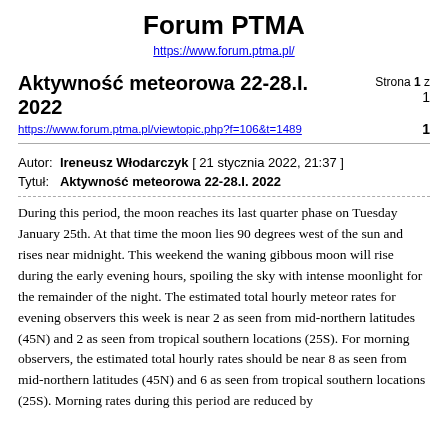Forum PTMA
https://www.forum.ptma.pl/
Aktywność meteorowa 22-28.I. 2022
Strona 1 z
1
https://www.forum.ptma.pl/viewtopic.php?f=106&t=1489
Autor:  Ireneusz Włodarczyk [ 21 stycznia 2022, 21:37 ]
Tytuł:   Aktywność meteorowa 22-28.I. 2022
During this period, the moon reaches its last quarter phase on Tuesday January 25th. At that time the moon lies 90 degrees west of the sun and rises near midnight. This weekend the waning gibbous moon will rise during the early evening hours, spoiling the sky with intense moonlight for the remainder of the night. The estimated total hourly meteor rates for evening observers this week is near 2 as seen from mid-northern latitudes (45N) and 2 as seen from tropical southern locations (25S). For morning observers, the estimated total hourly rates should be near 8 as seen from mid-northern latitudes (45N) and 6 as seen from tropical southern locations (25S). Morning rates during this period are reduced by